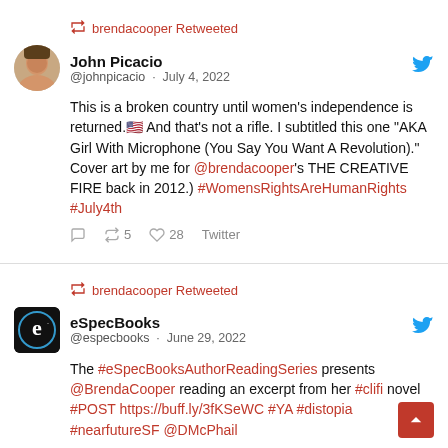brendacooper Retweeted
John Picacio @johnpicacio · July 4, 2022
This is a broken country until women's independence is returned.🇺🇸 And that's not a rifle. I subtitled this one "AKA Girl With Microphone (You Say You Want A Revolution)." Cover art by me for @brendacooper's THE CREATIVE FIRE back in 2012.) #WomensRightsAreHumanRights #July4th
5 retweets, 28 likes, Twitter
brendacooper Retweeted
eSpecBooks @especbooks · June 29, 2022
The #eSpecBooksAuthorReadingSeries presents @BrendaCooper reading an excerpt from her #clifi novel #POST https://buff.ly/3fKSeWC #YA #distopia #nearfutureSF @DMcPhail
1 retweet, Twitter